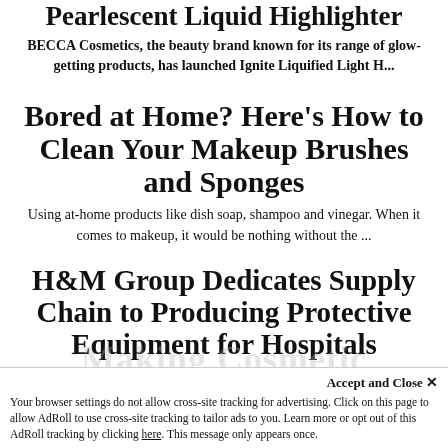Pearlescent Liquid Highlighter
BECCA Cosmetics, the beauty brand known for its range of glow-getting products, has launched Ignite Liquified Light H...
Bored at Home? Here's How to Clean Your Makeup Brushes and Sponges
Using at-home products like dish soap, shampoo and vinegar. When it comes to makeup, it would be nothing without the ...
H&M Group Dedicates Supply Chain to Producing Protective Equipment for Hospitals
The retail giant teams up with the European Union to provide support during coronavirus pandemic.Following the ever-g...
Accept and Close ✕
Your browser settings do not allow cross-site tracking for advertising. Click on this page to allow AdRoll to use cross-site tracking to tailor ads to you. Learn more or opt out of this AdRoll tracking by clicking here. This message only appears once.